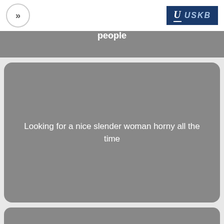>> USKB logo
woman with great body easy meeting new people
Looking for a nice slender woman horny all the time